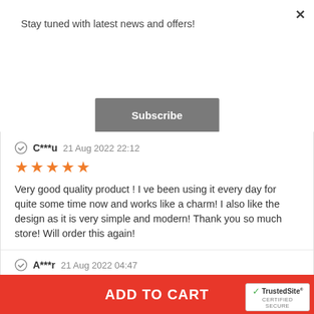Stay tuned with latest news and offers!
Subscribe
C***u 21 Aug 2022 22:12
[Figure (other): 5 orange stars rating]
Very good quality product ! I ve been using it every day for quite some time now and works like a charm! I also like the design as it is very simple and modern! Thank you so much store! Will order this again!
A***r 21 Aug 2022 04:47
[Figure (other): 5 orange stars rating]
ADD TO CART
[Figure (logo): TrustedSite CERTIFIED SECURE badge]